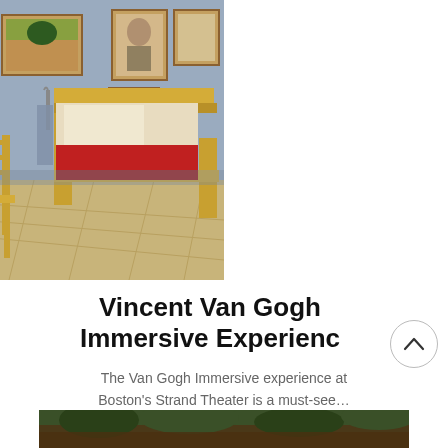[Figure (photo): A recreation of Van Gogh's 'The Bedroom' painting as a physical room, showing a yellow wooden bed with red bedding, a yellow ladder-back chair, a wooden desk, green-shuttered window with warm light, and paintings on blue-grey walls with light wooden floor.]
Vincent Van Gogh Immersive Experience
The Van Gogh Immersive experience at Boston's Strand Theater is a must-see…
[Figure (photo): Partial view of a second image at the bottom of the page, showing what appears to be an outdoor scene with trees.]